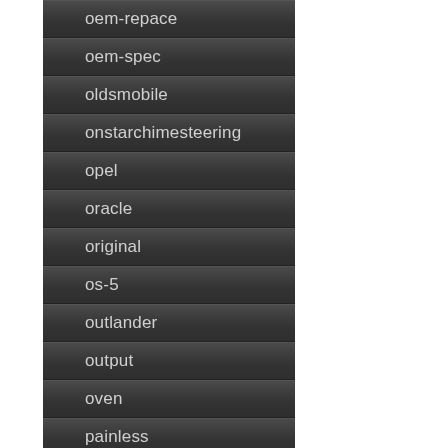oem-repace
oem-spec
oldsmobile
onstarchimesteering
opel
oracle
original
os-5
outlander
output
oven
painless